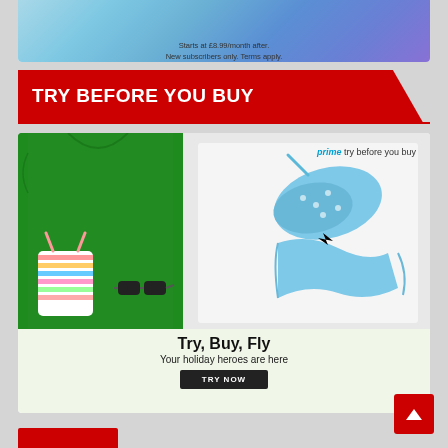[Figure (illustration): Top portion of an Amazon Prime ad banner with gradient blue/green background showing text 'Starts at £8.99/month after. New subscribers only. Terms apply.']
Starts at £8.99/month after.
New subscribers only. Terms apply.
TRY BEFORE YOU BUY
[Figure (illustration): Amazon Prime 'Try Before You Buy' advertisement showing clothing items including a green t-shirt, blue floral bikini, striped swimsuit top, and sunglasses laid flat. Text reads 'prime try before you buy', 'Try, Buy, Fly', 'Your holiday heroes are here', with a 'TRY NOW' button.]
prime try before you buy
Try, Buy, Fly
Your holiday heroes are here
TRY NOW